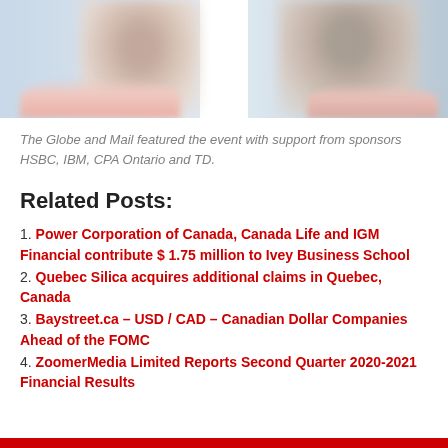[Figure (photo): Blurred photo of two people at an event, showing partial faces and hands against a light background]
The Globe and Mail featured the event with support from sponsors HSBC, IBM, CPA Ontario and TD.
Related Posts:
Power Corporation of Canada, Canada Life and IGM Financial contribute $ 1.75 million to Ivey Business School
Quebec Silica acquires additional claims in Quebec, Canada
Baystreet.ca – USD / CAD – Canadian Dollar Companies Ahead of the FOMC
ZoomerMedia Limited Reports Second Quarter 2020-2021 Financial Results